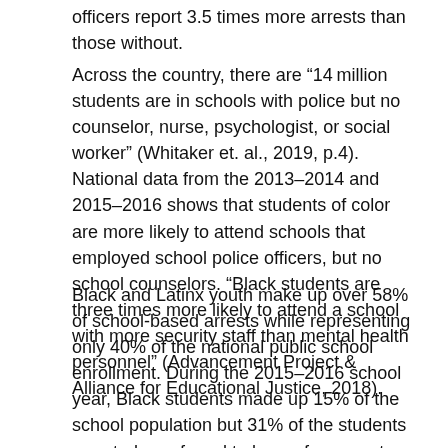officers report 3.5 times more arrests than those without.
Across the country, there are “14 million students are in schools with police but no counselor, nurse, psychologist, or social worker” (Whitaker et. al., 2019, p.4). National data from the 2013–2014 and 2015–2016 shows that students of color are more likely to attend schools that employed school police officers, but no school counselors. “Black students are three times more likely to attend a school with more security staff than mental health personnel” (Advancement Project & Alliance for Educational Justice, 2018).
Black and Latinx youth make up over 58% of school-based arrests while representing only 40% of the national public school enrollment. During the 2015–2016 school year, Black students made up 15% of the school population but 31% of the students arrested or referred to law enforcement. While constituting only 17% of public school enrollment, Black girls